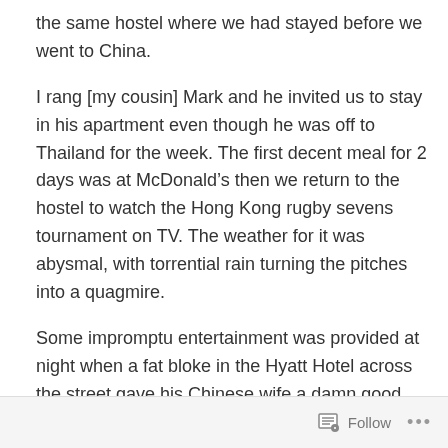the same hostel where we had stayed before we went to China.
I rang [my cousin] Mark and he invited us to stay in his apartment even though he was off to Thailand for the week. The first decent meal for 2 days was at McDonald’s then we return to the hostel to watch the Hong Kong rugby sevens tournament on TV. The weather for it was abysmal, with torrential rain turning the pitches into a quagmire.
Some impromptu entertainment was provided at night when a fat bloke in the Hyatt Hotel across the street gave his Chinese wife a damn good rogering with the curtains open!
Follow ...